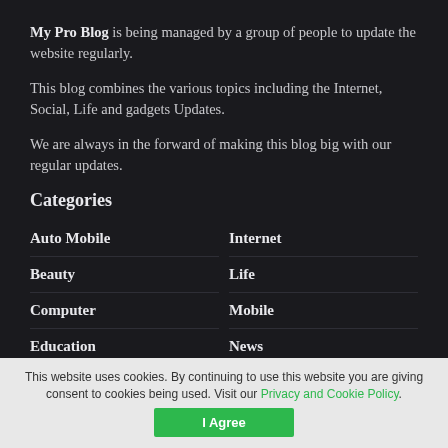My Pro Blog is being managed by a group of people to update the website regularly.
This blog combines the various topics including the Internet, Social, Life and gadgets Updates.
We are always in the forward of making this blog big with our regular updates.
Categories
Auto Mobile
Internet
Beauty
Life
Computer
Mobile
Education
News
Fashion
Property
This website uses cookies. By continuing to use this website you are giving consent to cookies being used. Visit our Privacy and Cookie Policy.